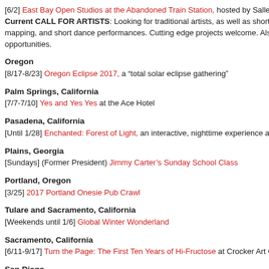[6/2] East Bay Open Studios at the Abandoned Train Station, hosted by Salle d... Current CALL FOR ARTISTS: Looking for traditional artists, as well as short f... mapping, and short dance performances. Cutting edge projects welcome. Also... opportunities.
Oregon
[8/17-8/23] Oregon Eclipse 2017, a "total solar eclipse gathering"
Palm Springs, California
[7/7-7/10] Yes and Yes Yes at the Ace Hotel
Pasadena, California
[Until 1/28] Enchanted: Forest of Light, an interactive, nighttime experience at l...
Plains, Georgia
[Sundays] (Former President) Jimmy Carter's Sunday School Class
Portland, Oregon
[3/25] 2017 Portland Onesie Pub Crawl
Tulare and Sacramento, California
[Weekends until 1/6] Global Winter Wonderland
Sacramento, California
[6/11-9/17] Turn the Page: The First Ten Years of Hi-Fructose at Crocker Art Ga...
San Diego
[3/4-3/11] JoCo Cruise 2017, "a whole cruise ship full of music, comedy, and g..."